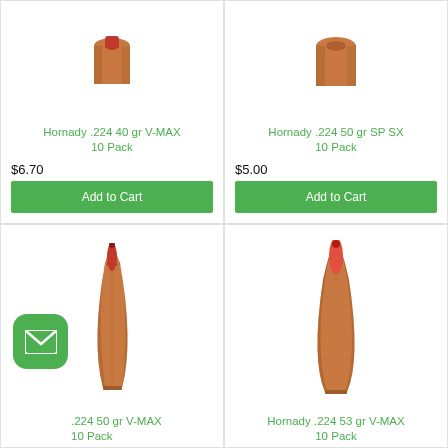[Figure (photo): Hornady .224 40 gr V-MAX bullet, copper with red tip, top partial view]
Hornady .224 40 gr V-MAX 10 Pack
$6.70
Add to Cart
[Figure (photo): Hornady .224 50 gr SP SX bullet, top partial view]
Hornady .224 50 gr SP SX 10 Pack
$5.00
Add to Cart
[Figure (photo): Hornady .224 50 gr V-MAX bullet, elongated copper bullet with dark red tip]
Hornady .224 50 gr V-MAX 10 Pack
[Figure (photo): Hornady .224 53 gr V-MAX bullet, copper with red tip]
Hornady .224 53 gr V-MAX 10 Pack